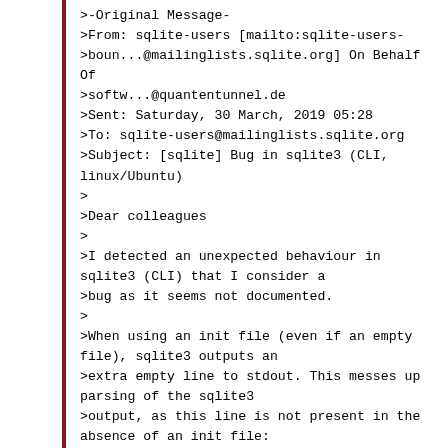>-Original Message-
>From: sqlite-users [mailto:sqlite-users->boun...@mailinglists.sqlite.org] On Behalf Of
>softw...@quantentunnel.de
>Sent: Saturday, 30 March, 2019 05:28
>To: sqlite-users@mailinglists.sqlite.org
>Subject: [sqlite] Bug in sqlite3 (CLI, linux/Ubuntu)
>
>Dear colleagues
>
>I detected an unexpected behaviour in sqlite3 (CLI) that I consider a
>bug as it seems not documented.
>
>When using an init file (even if an empty file), sqlite3 outputs an
>extra empty line to stdout. This messes up parsing of the sqlite3
>output, as this line is not present in the absence of an init file:
>